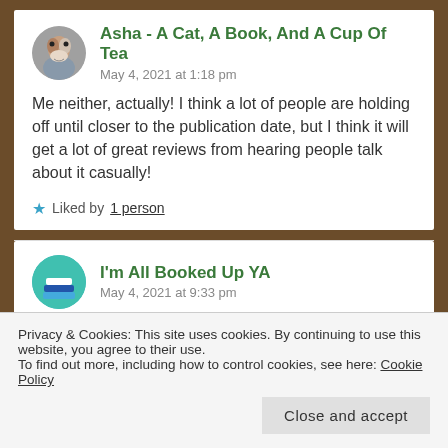[Figure (photo): Circular avatar photo of a person with a cat, used as comment profile picture]
Asha - A Cat, A Book, And A Cup Of Tea
May 4, 2021 at 1:18 pm
Me neither, actually! I think a lot of people are holding off until closer to the publication date, but I think it will get a lot of great reviews from hearing people talk about it casually!
Liked by 1 person
[Figure (illustration): Circular avatar showing stacked books icon for I'm All Booked Up YA]
I'm All Booked Up YA
May 4, 2021 at 9:33 pm
Privacy & Cookies: This site uses cookies. By continuing to use this website, you agree to their use.
To find out more, including how to control cookies, see here: Cookie Policy
Close and accept